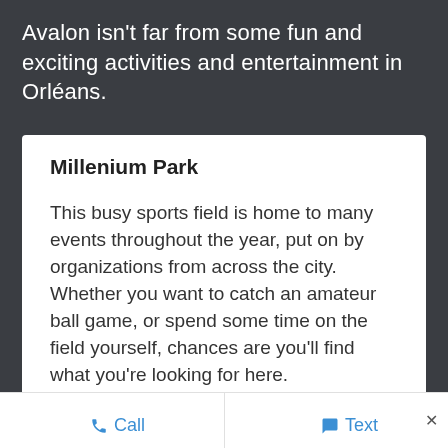Avalon isn't far from some fun and exciting activities and entertainment in Orléans.
Millenium Park
This busy sports field is home to many events throughout the year, put on by organizations from across the city. Whether you want to catch an amateur ball game, or spend some time on the field yourself, chances are you'll find what you're looking for here.
Call   Text   ×